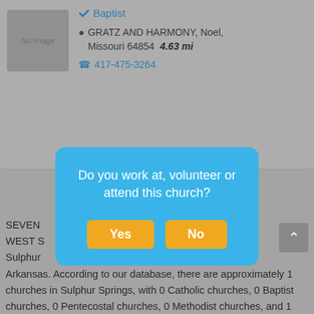[Figure (screenshot): Church listing card with 'No Image' placeholder, denomination link 'Baptist', address 'GRATZ AND HARMONY, Noel, Missouri 64854 4.63 mi', and phone '417-475-3264']
Showing 1 - 20 of 5k results
[Figure (screenshot): Modal dialog box with blue background asking 'Do you work at, volunteer or attend this church?' with Yes and No buttons in orange/yellow]
SEVEN... WEST S... Sulphur... of Arkansas. According to our database, there are approximately 1 churches in Sulphur Springs, with 0 Catholic churches, 0 Baptist churches, 0 Pentecostal churches, 0 Methodist churches, and 1 other denomination churches. If you are looking for a new church or just visiting Sulphur Springs, please browse